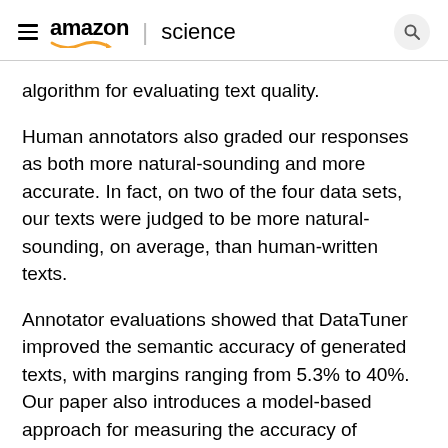amazon | science
algorithm for evaluating text quality.
Human annotators also graded our responses as both more natural-sounding and more accurate. In fact, on two of the four data sets, our texts were judged to be more natural-sounding, on average, than human-written texts.
Annotator evaluations showed that DataTuner improved the semantic accuracy of generated texts, with margins ranging from 5.3% to 40%. Our paper also introduces a model-based approach for measuring the accuracy of generated texts, on